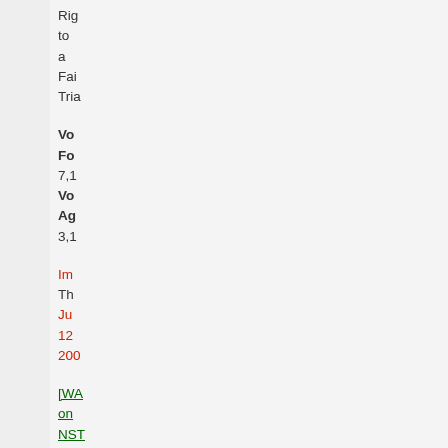Right to a Fair Trial
Votes For
7,1
Votes Against
3,1
Important
The
June
12
2006
[WA on NST [WA on NST